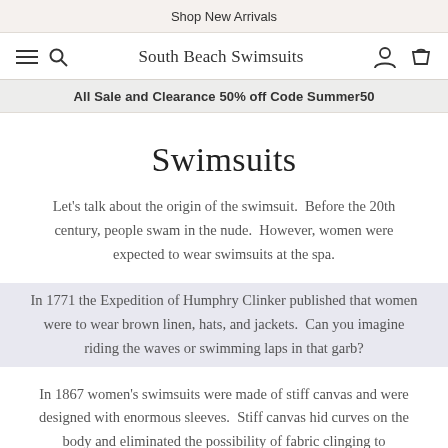Shop New Arrivals
South Beach Swimsuits
All Sale and Clearance 50% off Code Summer50
Swimsuits
Let's talk about the origin of the swimsuit.  Before the 20th century, people swam in the nude.  However, women were expected to wear swimsuits at the spa.
In 1771 the Expedition of Humphry Clinker published that women were to wear brown linen, hats, and jackets.  Can you imagine riding the waves or swimming laps in that garb?
In 1867 women's swimsuits were made of stiff canvas and were designed with enormous sleeves.  Stiff canvas hid curves on the body and eliminated the possibility of fabric clinging to